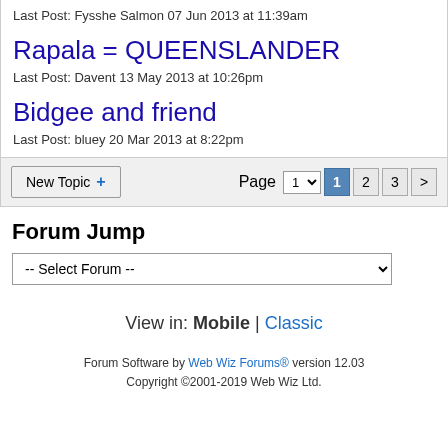Last Post: Fysshe Salmon 07 Jun 2013 at 11:39am
Rapala = QUEENSLANDER
Last Post: Davent 13 May 2013 at 10:26pm
Bidgee and friend
Last Post: bluey 20 Mar 2013 at 8:22pm
New Topic + | Page 1 2 3 >
Forum Jump
-- Select Forum --
View in: Mobile | Classic
Forum Software by Web Wiz Forums® version 12.03
Copyright ©2001-2019 Web Wiz Ltd.